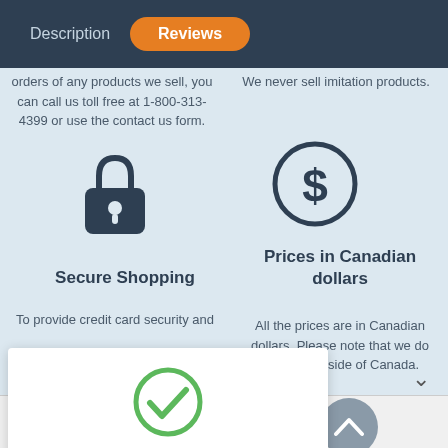Description | Reviews
orders of any products we sell, you can call us toll free at 1-800-313-4399 or use the contact us form.
We never sell imitation products.
[Figure (illustration): Lock/padlock icon representing secure shopping]
[Figure (illustration): Dollar sign in circle icon representing prices in Canadian dollars]
Secure Shopping
Prices in Canadian dollars
To provide credit card security and
All the prices are in Canadian dollars. Please note that we do not ship outside of Canada.
[Figure (illustration): Green checkmark circle icon for cookie consent]
Cookies are used on this site to provide the best user experience. If you continue, we assume that you agree to receive cookies from this site.
I am happy with this